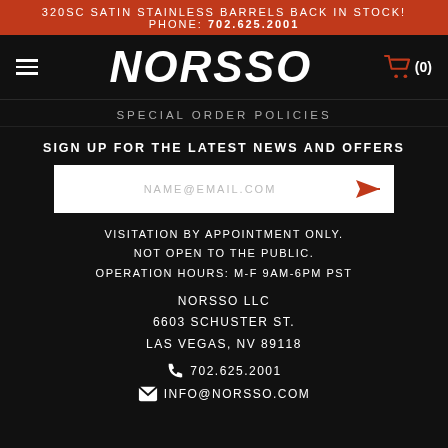320SC SATIN STAINLESS BARRELS BACK IN STOCK! PHONE: 702.625.2001
[Figure (logo): NORSSO logo in white italic bold text on black background with hamburger menu and cart icon]
SPECIAL ORDER POLICIES
SIGN UP FOR THE LATEST NEWS AND OFFERS
NAME@EMAIL.COM
VISITATION BY APPOINTMENT ONLY.
NOT OPEN TO THE PUBLIC.
OPERATION HOURS: M-F 9AM-6PM PST
NORSSO LLC
6603 SCHUSTER ST.
LAS VEGAS, NV 89118
702.625.2001
INFO@NORSSO.COM